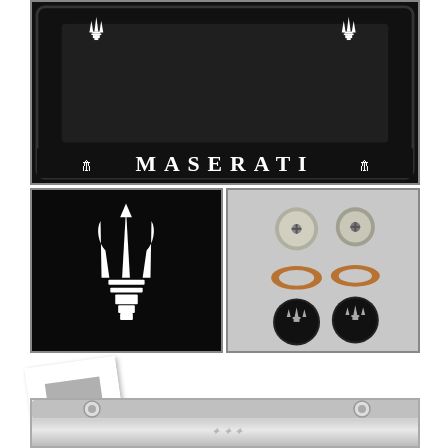[Figure (photo): Black Maserati license plate frame with silver trident logos at top corners and MASERATI text at bottom with trident emblems on each side]
[Figure (photo): Black background with silver Maserati trident logo]
[Figure (photo): Hardware components including screws, copper washers, and black round caps with Maserati trident logo]
[Figure (photo): Small polaroid-style thumbnail image placeholder]
[Figure (photo): Silver/chrome Maserati license plate frame partial view at bottom of page]